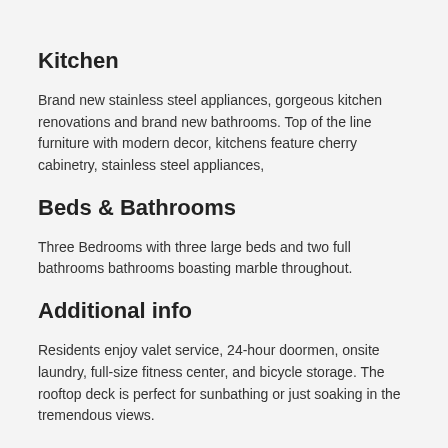Kitchen
Brand new stainless steel appliances, gorgeous kitchen renovations and brand new bathrooms. Top of the line furniture with modern decor, kitchens feature cherry cabinetry, stainless steel appliances,
Beds & Bathrooms
Three Bedrooms with three large beds and two full bathrooms bathrooms boasting marble throughout.
Additional info
Residents enjoy valet service, 24-hour doormen, onsite laundry, full-size fitness center, and bicycle storage. The rooftop deck is perfect for sunbathing or just soaking in the tremendous views.
Special Requirements
Please note that the minimum stay required for this property is